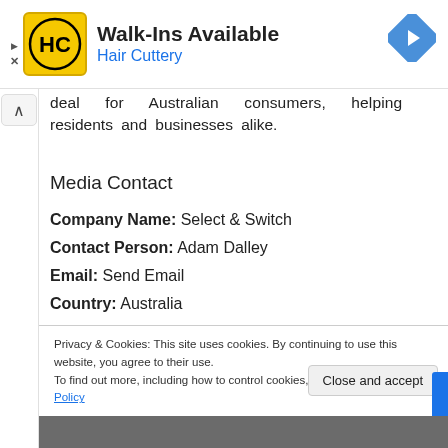[Figure (logo): Hair Cuttery advertisement banner with HC yellow logo, 'Walk-Ins Available' title, 'Hair Cuttery' subtitle in blue, and blue navigation arrow icon on the right]
deal for Australian consumers, helping residents and businesses alike.
Media Contact
Company Name: Select & Switch
Contact Person: Adam Dalley
Email: Send Email
Country: Australia
Privacy & Cookies: This site uses cookies. By continuing to use this website, you agree to their use.
To find out more, including how to control cookies, see here: Cookie Policy